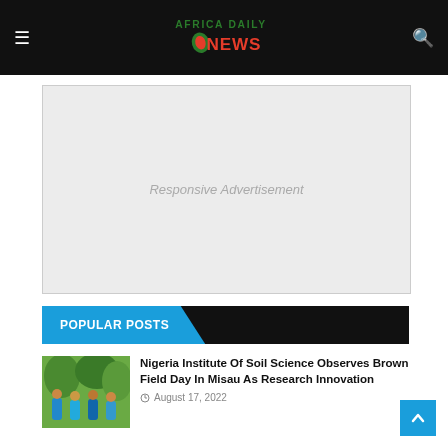Africa Daily News
[Figure (other): Responsive advertisement banner placeholder with light gray background]
POPULAR POSTS
[Figure (photo): Thumbnail photo of people in field wearing blue protective gear among green plants]
Nigeria Institute Of Soil Science Observes Brown Field Day In Misau As Research Innovation
August 17, 2022